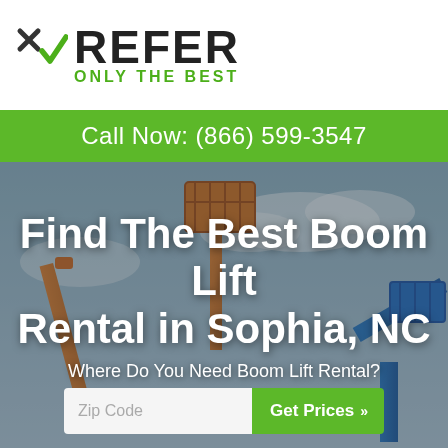[Figure (logo): XRefer logo with green checkmark and tagline ONLY THE BEST]
Call Now: (866) 599-3547
[Figure (photo): Hero background photo of boom lift cranes against sky]
Find The Best Boom Lift Rental in Sophia, NC
Where Do You Need Boom Lift Rental?
Zip Code
Get Prices »